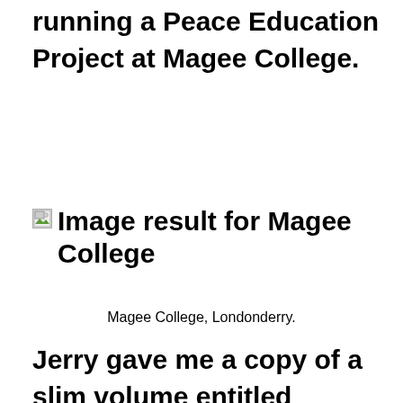running a Peace Education Project at Magee College.
[Figure (other): Broken image placeholder labeled 'Image result for Magee College']
Magee College, Londonderry.
Jerry gave me a copy of a slim volume entitled Borderlines: A Collection of New Writing from the North West, containing prose and poems by members of the Writers' Workshop based at Magee